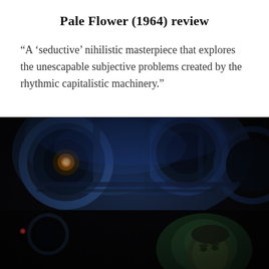Pale Flower (1964) review
“A ‘seductive’ nihilistic masterpiece that explores the unescapable subjective problems created by the rhythmic capitalistic machinery.”
[Figure (photo): A dark, moody film still from Pale Flower (1964) showing a man's face lit with greenish light looking upward, with large industrial or mechanical circular forms in the background lit with blue light, suggesting a dramatic, noir atmosphere.]